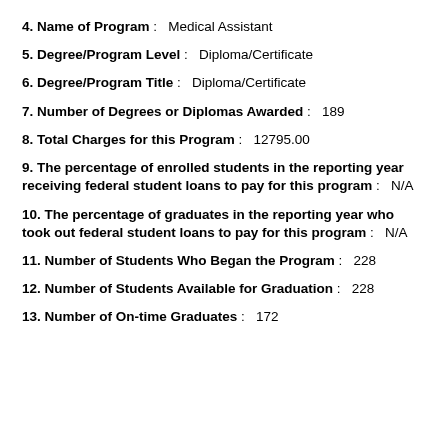4. Name of Program: Medical Assistant
5. Degree/Program Level: Diploma/Certificate
6. Degree/Program Title: Diploma/Certificate
7. Number of Degrees or Diplomas Awarded: 189
8. Total Charges for this Program: 12795.00
9. The percentage of enrolled students in the reporting year receiving federal student loans to pay for this program: N/A
10. The percentage of graduates in the reporting year who took out federal student loans to pay for this program: N/A
11. Number of Students Who Began the Program: 228
12. Number of Students Available for Graduation: 228
13. Number of On-time Graduates: 172